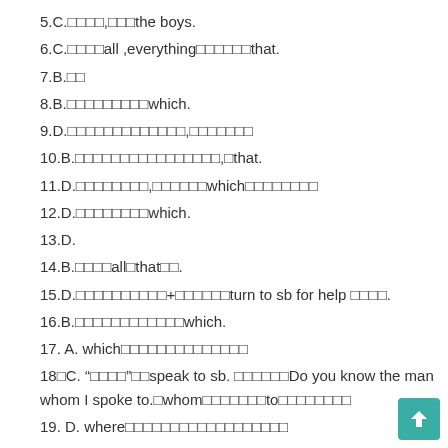5.C.□□□□,□□□the boys.
6.C.□□□□all ,everything□□□□□□that.
7.B.□□
8.B.□□□□□□□□□which.
9.D.□□□□□□□□□□□□□,□□□□□□□
10.B.□□□□□□□□□□□□□□□□,□that.
11.D.□□□□□□□□,□□□□□□which□□□□□□□□
12.D.□□□□□□□□which.
13.D.
14.B.□□□□all□that□□.
15.D.□□□□□□□□□□+□□□□□□turn to sb for help □□□□.
16.B.□□□□□□□□□□□□which.
17. A. which□□□□□□□□□□□□□□□
18□C. "□□□□"□□speak to sb. □□□□□□Do you know the man whom I spoke to.□whom□□□□□□□□to□□□□□□□□□
19. D. where□□□□□□□□□□□□□□□□□□□
20. C. when□□□□□□□□□□□□□□□□□□□